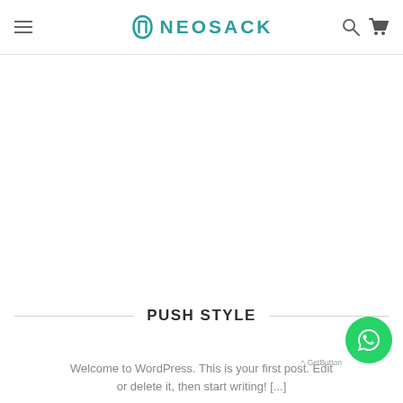NEOSACK
PUSH STYLE
Welcome to WordPress. This is your first post. Edit or delete it, then start writing! [...]